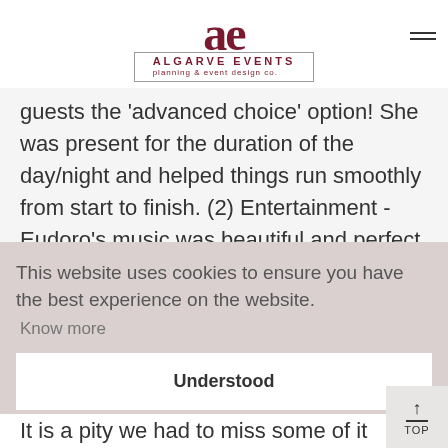ALGARVE EVENTS – planning & event design co.
guests the 'advanced choice' option! She was present for the duration of the day/night and helped things run smoothly from start to finish. (2) Entertainment - Eudoro's music was beautiful and perfect
This website uses cookies to ensure you have the best experience on the website. Know more
Understood
It is a pity we had to miss some of it